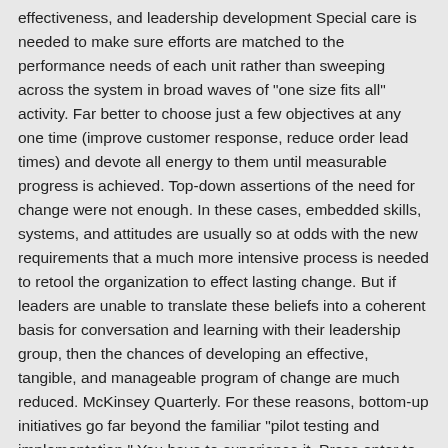effectiveness, and leadership development Special care is needed to make sure efforts are matched to the performance needs of each unit rather than sweeping across the system in broad waves of "one size fits all" activity. Far better to choose just a few objectives at any one time (improve customer response, reduce order lead times) and devote all energy to them until measurable progress is achieved. Top-down assertions of the need for change were not enough. In these cases, embedded skills, systems, and attitudes are usually so at odds with the new requirements that a much more intensive process is needed to retool the organization to effect lasting change. But if leaders are unable to translate these beliefs into a coherent basis for conversation and learning with their leadership group, then the chances of developing an effective, tangible, and manageable program of change are much reduced. McKinsey Quarterly. For these reasons, bottom-up initiatives go far beyond the familiar "pilot testing and implementation." You have to experience it. Press enter to select and open the results on a new page. Senior managers almost always underestimate the importance of this structured planning phase. A